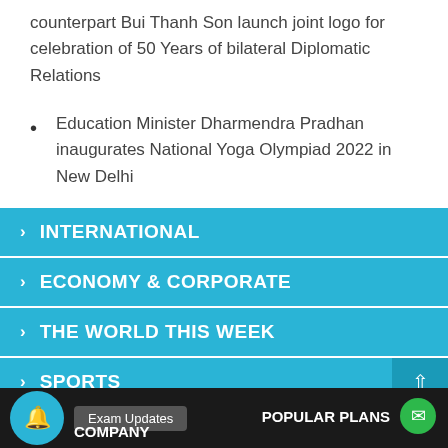counterpart Bui Thanh Son launch joint logo for celebration of 50 Years of bilateral Diplomatic Relations
Education Minister Dharmendra Pradhan inaugurates National Yoga Olympiad 2022 in New Delhi
> INTERNATIONAL
> ECONOMY & CORPORATE
> THE WORLD THIS WEEK
> SPORTS
COMPANY   Exam Updates   POPULAR PLANS